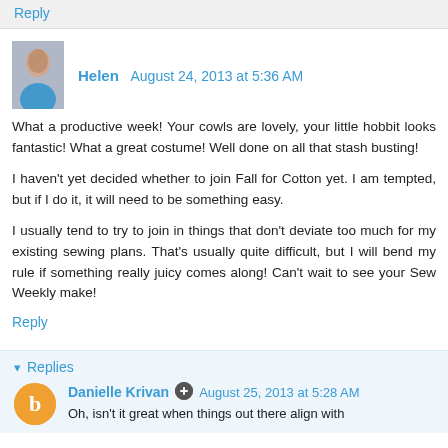Reply
Helen  August 24, 2013 at 5:36 AM
What a productive week! Your cowls are lovely, your little hobbit looks fantastic! What a great costume! Well done on all that stash busting!
I haven't yet decided whether to join Fall for Cotton yet. I am tempted, but if I do it, it will need to be something easy.
I usually tend to try to join in things that don't deviate too much for my existing sewing plans. That's usually quite difficult, but I will bend my rule if something really juicy comes along! Can't wait to see your Sew Weekly make!
Reply
Replies
Danielle Krivan  August 25, 2013 at 5:28 AM
Oh, isn't it great when things out there align with